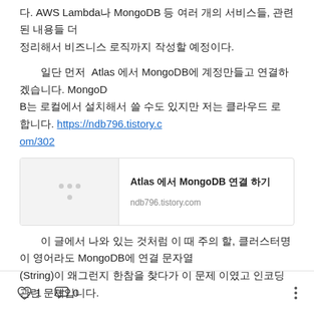다. AWS Lambda나 MongoDB 등 여러 개의 서비스들, 관련된 내용들 더 정리해서 비즈니스 로직까지 작성할 예정이다.
일단 먼저  Atlas 에서 MongoDB에 계정만들고 연결하겠습니다. MongoDB는 로컬에서 설치해서 쓸 수도 있지만 저는 클라우드 로 합니다. https://ndb796.tistory.com/302
[Figure (screenshot): Link card for 'Atlas 에서 MongoDB 연결 하기' from ndb796.tistory.com]
이 글에서 나와 있는 것처럼 이 때 주의 할, 클러스터명이 영어라도 MongoDB에 연결 문자열 (String)이 왜그런지 한참을 찾다가 이 문제 이였고 인코딩관련 문제입니다.
1  0  ···